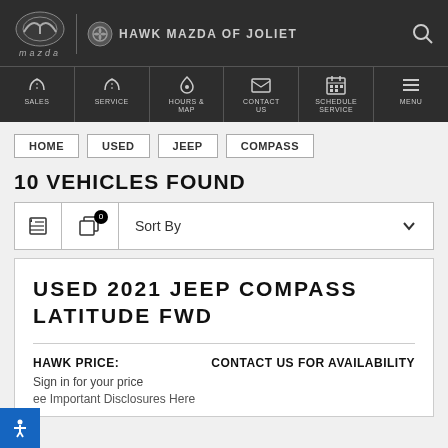Hawk Mazda of Joliet - Navigation Header
SALES
SERVICE
HOURS & MAP
CONTACT US
SCHEDULE SERVICE
MENU
HOME
USED
JEEP
COMPASS
10 VEHICLES FOUND
Sort By
USED 2021 JEEP COMPASS LATITUDE FWD
HAWK PRICE:    CONTACT US FOR AVAILABILITY
Sign in for your price
ee Important Disclosures Here